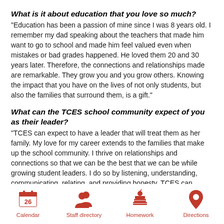What is it about education that you love so much?
“Education has been a passion of mine since I was 8 years old. I remember my dad speaking about the teachers that made him want to go to school and made him feel valued even when mistakes or bad grades happened. He loved them 20 and 30 years later. Therefore, the connections and relationships made are remarkable. They grow you and you grow others. Knowing the impact that you have on the lives of not only students, but also the families that surround them, is a gift.”
What can the TCES school community expect of you as their leader?
“TCES can expect to have a leader that will treat them as her family. My love for my career extends to the families that make up the school community. I thrive on relationships and connections so that we can be the best that we can be while growing student leaders. I do so by listening, understanding, communicating, relating, and providing honesty. TCES can expect
Calendar | Staff directory | Homework | Directions